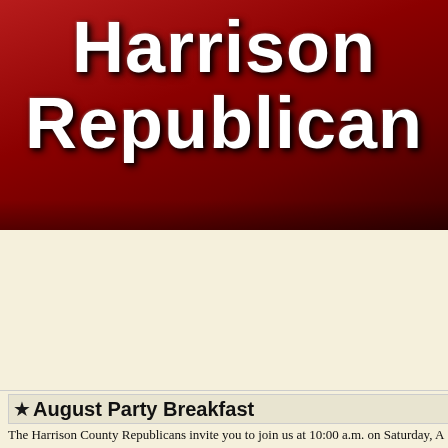Harrison Republican
Saving Ame Starts Right
MONDAY, AUGUST 1, 2022
★ August Party Breakfast
The Harrison County Republicans invite you to join us at 10:00 a.m. on Saturday, A